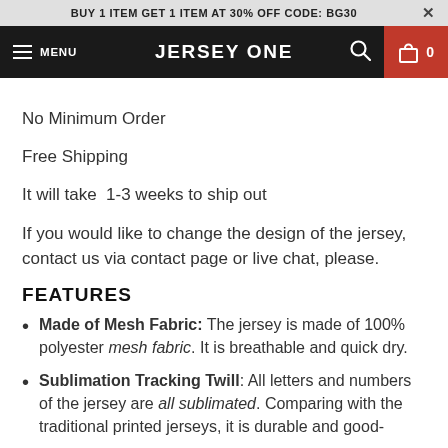BUY 1 ITEM GET 1 ITEM AT 30% OFF CODE: BG30
MENU  JERSEY ONE  0
No Minimum Order
Free Shipping
It will take  1-3 weeks to ship out
If you would like to change the design of the jersey, contact us via contact page or live chat, please.
FEATURES
Made of Mesh Fabric: The jersey is made of 100% polyester mesh fabric. It is breathable and quick dry.
Sublimation Tracking Twill: All letters and numbers of the jersey are all sublimated. Comparing with the traditional printed jerseys, it is durable and good-